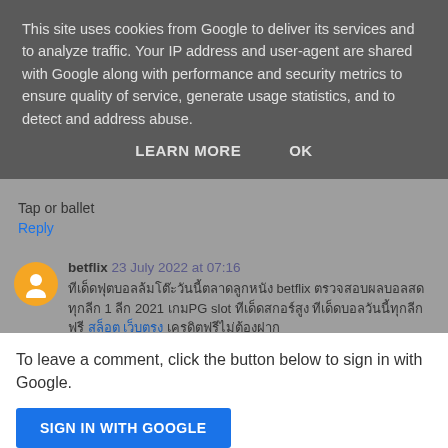This site uses cookies from Google to deliver its services and to analyze traffic. Your IP address and user-agent are shared with Google along with performance and security metrics to ensure quality of service, generate usage statistics, and to detect and address abuse.
LEARN MORE   OK
Tap or ballet
Reply
betflix 23 July 2022 at 07:16
Thai text comment mentioning betflix and PG slot with linked Thai text
Reply
To leave a comment, click the button below to sign in with Google.
SIGN IN WITH GOOGLE